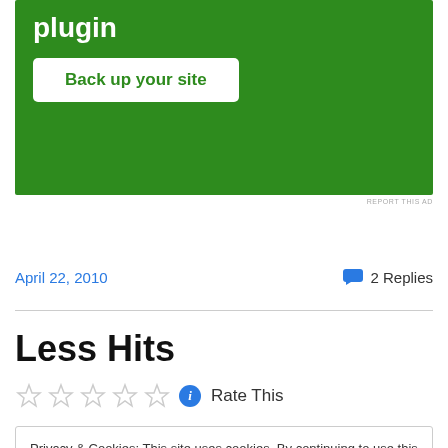[Figure (screenshot): Green advertisement banner with 'plugin' text in white bold and a white rounded button labeled 'Back up your site' in green text]
REPORT THIS AD
April 22, 2010
2 Replies
Less Hits
Rate This
Privacy & Cookies: This site uses cookies. By continuing to use this website, you agree to their use.
To find out more, including how to control cookies, see here: Cookie Policy
Close and accept